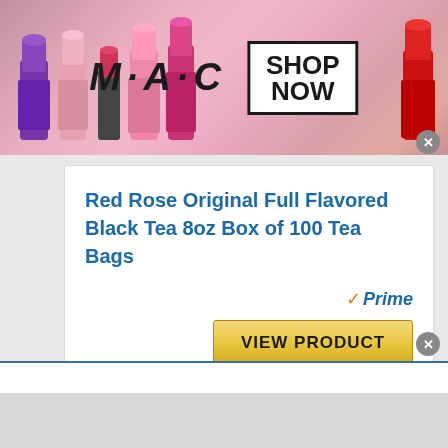[Figure (photo): MAC cosmetics banner advertisement showing lipsticks on left and right, MAC logo in center with 'SHOP NOW' box. Close button in corner.]
Red Rose Original Full Flavored Black Tea 8oz Box of 100 Tea Bags
[Figure (logo): Amazon Prime checkmark logo with 'Prime' text in blue italic]
VIEW PRODUCT
BESTSELLER NO. 5